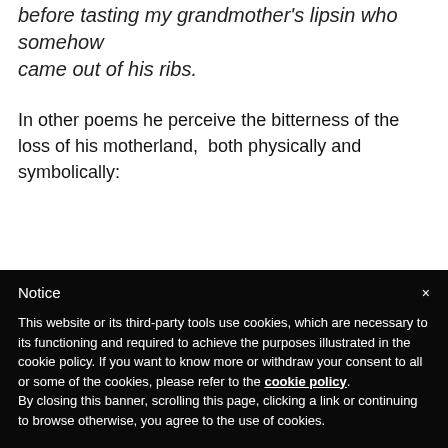before tasting my grandmother's lipsin who somehow came out of his ribs.
In other poems he perceive the bitterness of the loss of his motherland,  both physically and symbolically:
Notice
This website or its third-party tools use cookies, which are necessary to its functioning and required to achieve the purposes illustrated in the cookie policy. If you want to know more or withdraw your consent to all or some of the cookies, please refer to the cookie policy. By closing this banner, scrolling this page, clicking a link or continuing to browse otherwise, you agree to the use of cookies.